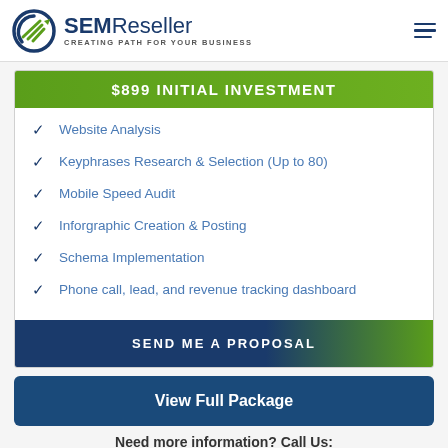[Figure (logo): SEMReseller logo with circular icon featuring green arrow and 'SEM' in bold blue with 'Reseller' in lighter blue, tagline 'CREATING PATH FOR YOUR BUSINESS']
$899 INITIAL INVESTMENT
Website Analysis
Keyphrases Research & Selection (Up to 80)
Mobile Speed Audit
Inforgraphic Creation & Posting
Schema Implementation
Phone call, lead, and revenue tracking dashboard
SEND ME A PROPOSAL
View Full Package
Need more information? Call Us: